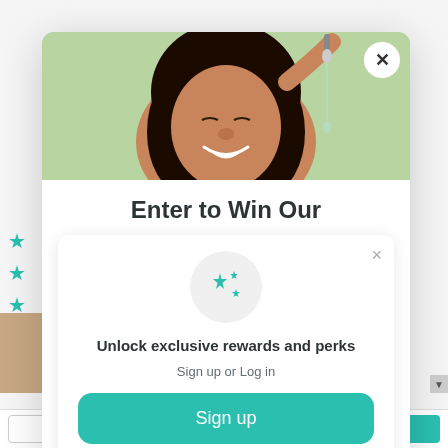[Figure (screenshot): A popup modal on a beauty/skincare website showing a contest entry and loyalty rewards signup prompt. Background shows stars and a product review page. The modal contains a hero image of a smiling woman applying a serum, a headline 'Enter to Win Our', a sub-card with sparkle icon, rewards text, and sign up button.]
Enter to Win Our
Unlock exclusive rewards and perks
Sign up or Log in
Sign up
Already have an account? Sign in